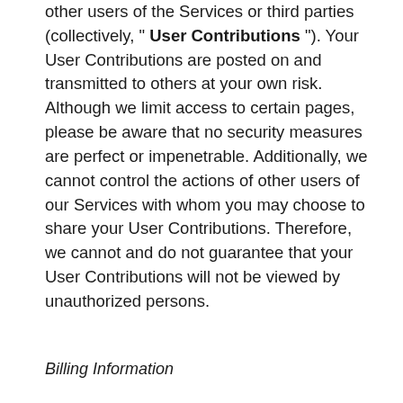other users of the Services or third parties (collectively, " User Contributions "). Your User Contributions are posted on and transmitted to others at your own risk. Although we limit access to certain pages, please be aware that no security measures are perfect or impenetrable. Additionally, we cannot control the actions of other users of our Services with whom you may choose to share your User Contributions. Therefore, we cannot and do not guarantee that your User Contributions will not be viewed by unauthorized persons.
Billing Information